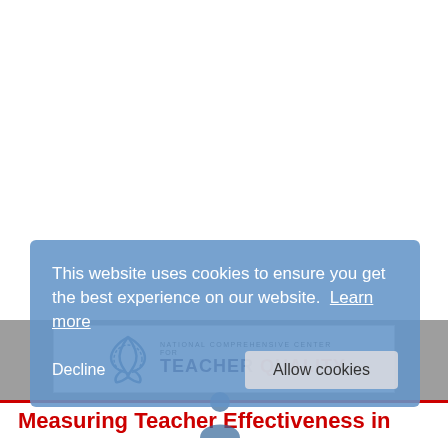[Figure (screenshot): Cookie consent overlay dialog on a website. Blue semi-transparent box with text: 'This website uses cookies to ensure you get the best experience on our website. Learn more' with Decline and Allow cookies buttons.]
[Figure (logo): National Comprehensive Center for Teacher Quality logo with triquetra/triangle symbol in blue and text 'NATIONAL COMPREHENSIVE CENTER for TEACHER QUALITY']
Measuring Teacher Effectiveness in